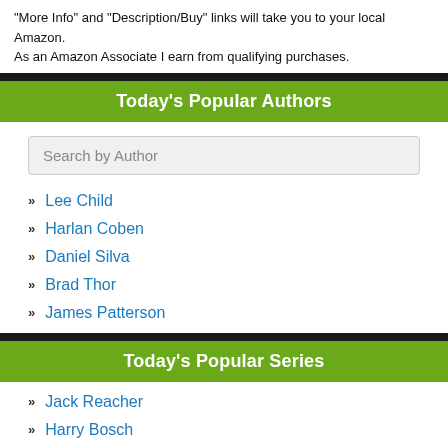"More Info" and "Description/Buy" links will take you to your local Amazon. As an Amazon Associate I earn from qualifying purchases.
Today's Popular Authors
Search by Author
Lee Child
Harlan Coben
Daniel Silva
Brad Thor
James Patterson
Today's Popular Series
Jack Reacher
Harry Bosch
Myron Bolitar
Gabriel Allon
Inspector Lynley